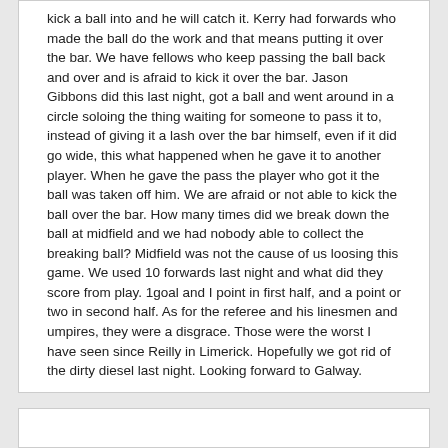kick a ball into and he will catch it. Kerry had forwards who made the ball do the work and that means putting it over the bar. We have fellows who keep passing the ball back and over and is afraid to kick it over the bar. Jason Gibbons did this last night, got a ball and went around in a circle soloing the thing waiting for someone to pass it to, instead of giving it a lash over the bar himself, even if it did go wide, this what happened when he gave it to another player. When he gave the pass the player who got it the ball was taken off him. We are afraid or not able to kick the ball over the bar. How many times did we break down the ball at midfield and we had nobody able to collect the breaking ball? Midfield was not the cause of us loosing this game. We used 10 forwards last night and what did they score from play. 1goal and I point in first half, and a point or two in second half. As for the referee and his linesmen and umpires, they were a disgrace. Those were the worst I have seen since Reilly in Limerick. Hopefully we got rid of the dirty diesel last night. Looking forward to Galway.